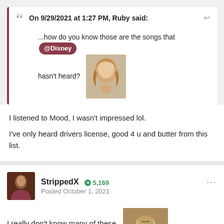On 9/29/2021 at 1:27 PM, Ruby said:
...how do you know those are the songs that @Disney hasn't heard?
I listened to Mood, I wasn't impressed lol.
I've only heard drivers license, good 4 u and butter from this list.
StrippedX   +5,169   Posted October 1, 2021
I really don't know many of these
But Montero, Save Your Tears and Good 4 U >>>